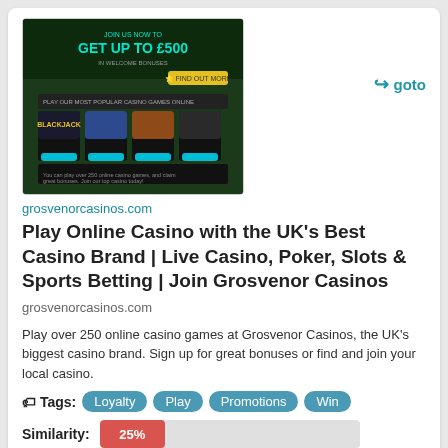[Figure (screenshot): Screenshot of grosvenorcasinos.com website showing casino games interface with dark green background, bonus offer, and game thumbnails including Blackjack]
goto
grosvenorcasinos.com
Play Online Casino with the UK's Best Casino Brand | Live Casino, Poker, Slots & Sports Betting | Join Grosvenor Casinos grosvenorcasinos.com
Play over 250 online casino games at Grosvenor Casinos, the UK's biggest casino brand. Sign up for great bonuses or find and join your local casino.
Tags: Loyalty Play Promotions Win
Similarity: 25%
Similar Websites to grosvenorcasinos.com
[Figure (screenshot): Screenshot of a slots website with pink/red logo and navigation bar]